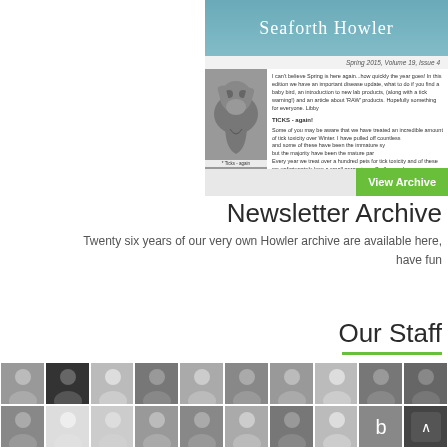[Figure (screenshot): Screenshot of Seaforth Howler newsletter - Spring 2015, Volume 19, Issue 4, showing a dog photo and article text about ticks]
[Figure (other): Green View Archive button overlaid on newsletter screenshot]
Newsletter Archive
Twenty six years of our very own Howler archive are available here, have fun
Our Staff
[Figure (photo): Grid of black and white staff portrait photos, two rows of approximately 10 photos each]